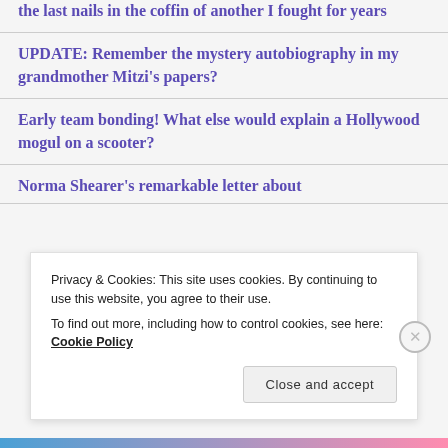the last nails in the coffin of another I fought for years
UPDATE: Remember the mystery autobiography in my grandmother Mitzi's papers?
Early team bonding! What else would explain a Hollywood mogul on a scooter?
Norma Shearer's remarkable letter about
Privacy & Cookies: This site uses cookies. By continuing to use this website, you agree to their use.
To find out more, including how to control cookies, see here: Cookie Policy
Close and accept